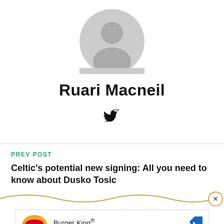[Figure (illustration): Generic user avatar placeholder icon — grey circle with silhouette of a person (head and shoulders)]
Ruari Macneil
[Figure (logo): Twitter bird icon in black]
PREV POST
Celtic's potential new signing: All you need to know about Dusko Tosic
[Figure (infographic): Wavy decorative line with a close/X button circle on the right side]
[Figure (logo): Burger King advertisement banner with logo, name 'Burger King®', subtitle 'Burger King', and a blue navigation arrow icon]